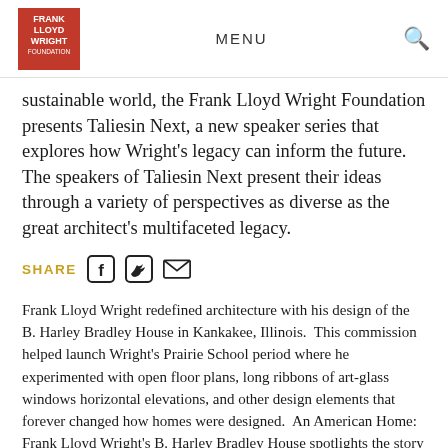Frank Lloyd Wright Foundation — MENU [search icon]
sustainable world, the Frank Lloyd Wright Foundation presents Taliesin Next, a new speaker series that explores how Wright's legacy can inform the future. The speakers of Taliesin Next present their ideas through a variety of perspectives as diverse as the great architect's multifaceted legacy.
SHARE [Facebook icon] [Twitter icon] [Email icon]
Frank Lloyd Wright redefined architecture with his design of the B. Harley Bradley House in Kankakee, Illinois.  This commission helped launch Wright's Prairie School period where he experimented with open floor plans, long ribbons of art-glass windows horizontal elevations, and other design elements that forever changed how homes were designed.  An American Home: Frank Lloyd Wright's B. Harley Bradley House spotlights the story of this architectural treasure and